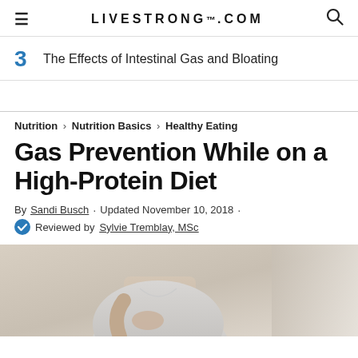LIVESTRONG.COM
3  The Effects of Intestinal Gas and Bloating
Nutrition > Nutrition Basics > Healthy Eating
Gas Prevention While on a High-Protein Diet
By Sandi Busch · Updated November 10, 2018 · Reviewed by Sylvie Tremblay, MSc
[Figure (photo): A person holding their stomach area, wearing a white tank top, in an indoor setting]